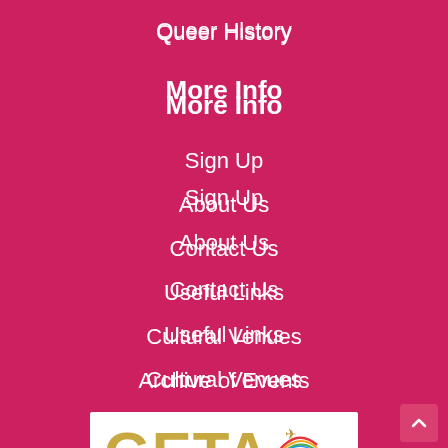Queer History
More Info
Sign Up
About Us
Contact Us
Useful Links
Cultural Venues
Archive of Events
[Figure (logo): GETA logo with rainbow arc and airplane icon, text below: Member of the Gay European Tourism Association]